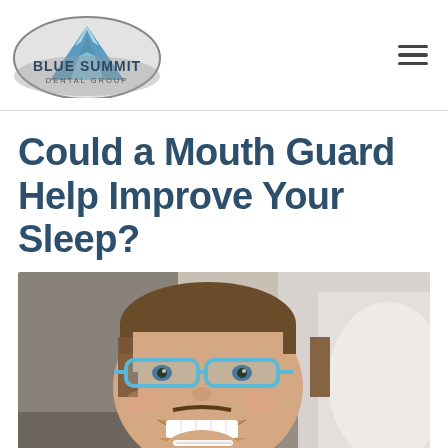[Figure (logo): Blue Summit Dental Group logo — mountain peak illustration inside an oval with text 'BLUE SUMMIT DENTAL GROUP']
Could a Mouth Guard Help Improve Your Sleep?
[Figure (photo): A smiling man wearing protective blue-rimmed safety glasses at a dental office, with a dental professional in a white coat visible in the background]